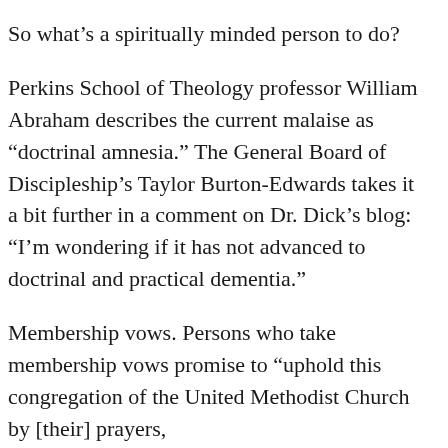So what’s a spiritually minded person to do?
Perkins School of Theology professor William Abraham describes the current malaise as “doctrinal amnesia.” The General Board of Discipleship’s Taylor Burton-Edwards takes it a bit further in a comment on Dr. Dick’s blog: “I’m wondering if it has not advanced to doctrinal and practical dementia.”
Membership vows. Persons who take membership vows promise to “uphold this congregation of the United Methodist Church by [their] prayers,